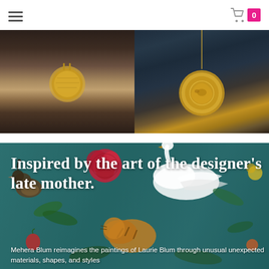Navigation menu and cart icon with badge 0
[Figure (photo): Left photo: person wearing a gold hammered disc pendant necklace against dark background, close-up of neckline]
[Figure (photo): Right photo: person wearing large ornate gold coin/medallion pendant on long chain, wearing dark blue/grey sheer fabric, dark background]
[Figure (illustration): Decorative teal/turquoise background banner with painted botanical and wildlife illustration: quail bird, white swan, red rose, tiger, flowers and foliage]
Inspired by the art of the designer's late mother.
Mehera Blum reimagines the paintings of Laurie Blum through unusual unexpected materials, shapes, and styles